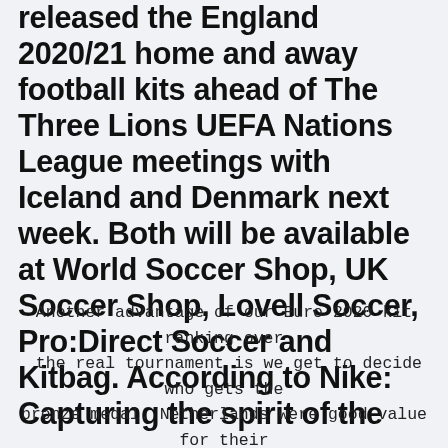released the England 2020/21 home and away football kits ahead of The Three Lions UEFA Nations League meetings with Iceland and Denmark next week. Both will be available at World Soccer Shop, UK Soccer Shop, Lovell Soccer, Pro:Direct Soccer and Kitbag. According to Nike: Capturing the spirit of the
Another advantage of our Euro 2020 kit ranking over the real tournament is we get to decide who gets the bronze medal. Netherlands were good value for their run to the semis, but Italy fully justify their place on the